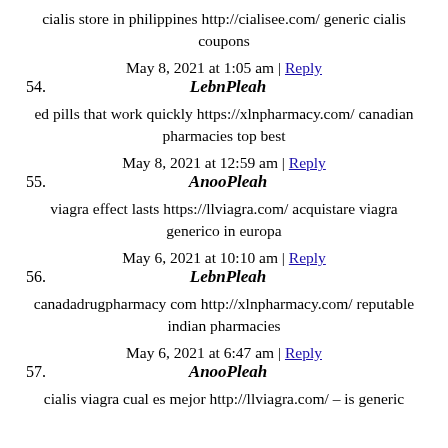cialis store in philippines http://cialisee.com/ generic cialis coupons
May 8, 2021 at 1:05 am | Reply
54. LebnPleah
ed pills that work quickly https://xlnpharmacy.com/ canadian pharmacies top best
May 8, 2021 at 12:59 am | Reply
55. AnooPleah
viagra effect lasts https://llviagra.com/ acquistare viagra generico in europa
May 6, 2021 at 10:10 am | Reply
56. LebnPleah
canadadrugpharmacy com http://xlnpharmacy.com/ reputable indian pharmacies
May 6, 2021 at 6:47 am | Reply
57. AnooPleah
cialis viagra cual es mejor http://llviagra.com/ – is generic